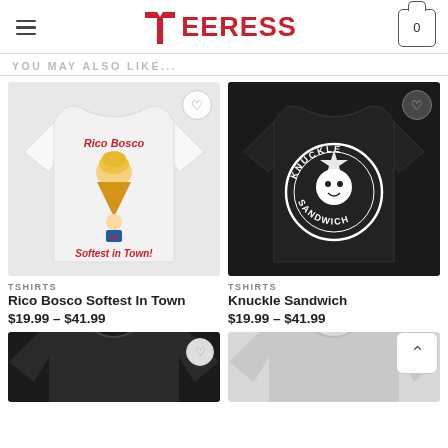TEERESS
YOU MAY ALSO LIKE...
[Figure (photo): White t-shirt with Rico Bosco Softest In Town ice cream graphic]
[Figure (photo): Black t-shirt with Knuckle Sandwich circular logo graphic]
TSHIRTS
Rico Bosco Softest In Town
$19.99 – $41.99
TSHIRTS
Knuckle Sandwich
$19.99 – $41.99
[Figure (photo): Partial view of black t-shirt at bottom left]
[Figure (photo): Partial view of light gray t-shirt at bottom right]